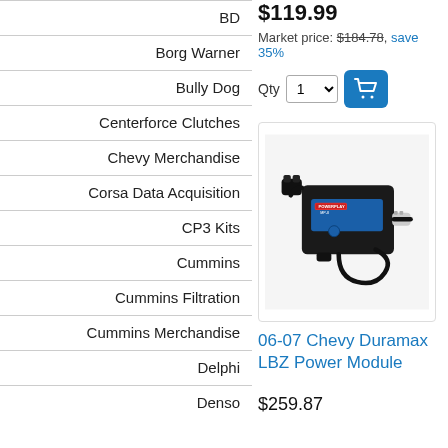BD
Borg Warner
Bully Dog
Centerforce Clutches
Chevy Merchandise
Corsa Data Acquisition
CP3 Kits
Cummins
Cummins Filtration
Cummins Merchandise
Delphi
Denso
$119.99
Market price: $184.78, save 35%
[Figure (photo): Photo of a black electronic power module device with wiring harness connectors, labeled PowerPlay MP-8]
06-07 Chevy Duramax LBZ Power Module
$259.87